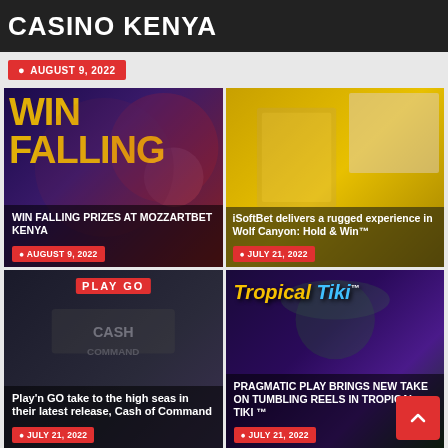CASINO KENYA
AUGUST 9, 2022
[Figure (screenshot): Card: WIN FALLING PRIZES AT MOZZARTBET KENYA with date August 9, 2022]
[Figure (screenshot): Card: iSoftBet delivers a rugged experience in Wolf Canyon: Hold & Win™ with date July 21, 2022]
[Figure (screenshot): Card: Play'n GO take to the high seas in their latest release, Cash of Command with date July 21, 2022]
[Figure (screenshot): Card: PRAGMATIC PLAY BRINGS NEW TAKE ON TUMBLING REELS IN TROPICAL TIKI ™ with date July 21, 2022]
Top Rated Slot Games